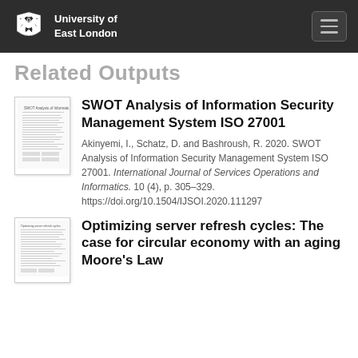University of East London
Related Outputs
SWOT Analysis of Information Security Management System ISO 27001
Akinyemi, I., Schatz, D. and Bashroush, R. 2020. SWOT Analysis of Information Security Management System ISO 27001. International Journal of Services Operations and Informatics. 10 (4), p. 305–329. https://doi.org/10.1504/IJSOI.2020.111297
[Figure (illustration): Thumbnail of academic paper document]
Optimizing server refresh cycles: The case for circular economy with an aging Moore's Law
[Figure (illustration): Thumbnail of academic paper document]